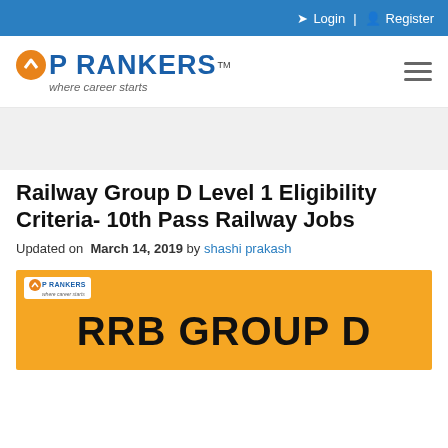Login | Register
[Figure (logo): Top Rankers logo with orange chevron icon, tagline 'where career starts' and TM symbol]
[Figure (other): Gray advertisement/banner area]
Railway Group D Level 1 Eligibility Criteria- 10th Pass Railway Jobs
Updated on  March 14, 2019 by shashi prakash
[Figure (illustration): Orange banner with Top Rankers logo and large bold text 'RRB GROUP D']